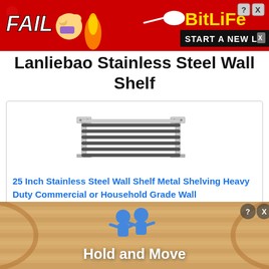[Figure (illustration): Top advertisement banner with red background. Shows 'FAIL' text in white italic, a girl emoji covering her face with flames, and the BitLife logo in yellow on the right with 'START A NEW LIFE' tagline in dark bar. Red background with question mark and X close icons.]
Lanliebao Stainless Steel Wall Shelf
[Figure (photo): Product image of a stainless steel wall shelf with multiple horizontal bars/rods, shown in a 3D perspective view with wall mounting brackets on both sides.]
25 Inch Stainless Steel Wall Shelf Metal Shelving Heavy Duty Commercial or Household Grade Wall
[Figure (illustration): Bottom advertisement banner with wooden/barrel texture background. Shows two blue character figures holding something, with 'Hold and Move' text in white. Has close (X) and help (?) icons in top right.]